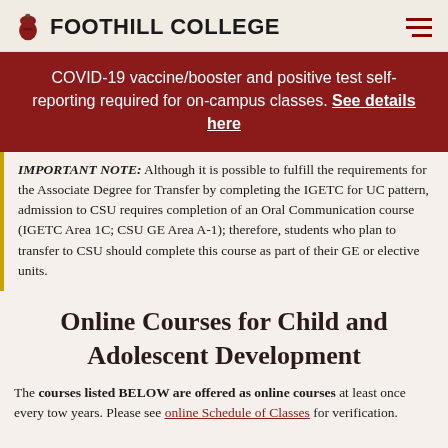FOOTHILL COLLEGE
COVID-19 vaccine/booster and positive test self-reporting required for on-campus classes. See details here
IMPORTANT NOTE: Although it is possible to fulfill the requirements for the Associate Degree for Transfer by completing the IGETC for UC pattern, admission to CSU requires completion of an Oral Communication course (IGETC Area 1C; CSU GE Area A-1); therefore, students who plan to transfer to CSU should complete this course as part of their GE or elective units.
Online Courses for Child and Adolescent Development
The courses listed BELOW are offered as online courses at least once every tow years. Please see online Schedule of Classes for verification.